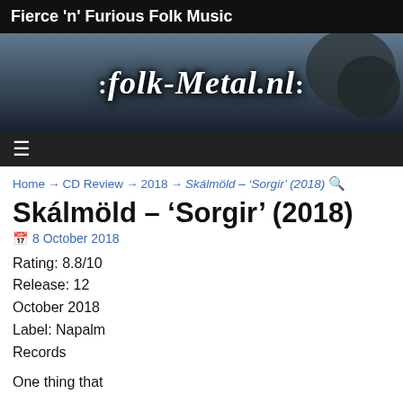Fierce 'n' Furious Folk Music
[Figure (screenshot): folk-metal.nl website banner logo with decorative gothic/blackletter font on a dark landscape background]
≡ (hamburger menu icon)
Home → CD Review → 2018 → Skálmöld – 'Sorgir' (2018) 🔍
Skálmöld – 'Sorgir' (2018)
📅 8 October 2018
Rating: 8.8/10
Release: 12 October 2018
Label: Napalm Records
One thing that